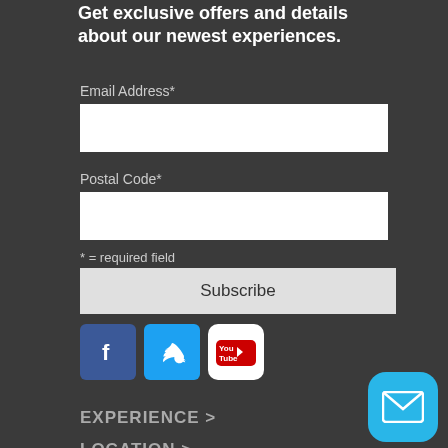Get exclusive offers and details about our newest experiences.
Email Address*
Postal Code*
* = required field
Subscribe
[Figure (logo): Social media icons: Facebook (blue square with white f), Twitter (light blue square with white bird), YouTube (white rounded square with red YouTube logo)]
EXPERIENCE  >
LOCATION  >
[Figure (other): Light blue rounded square button with white envelope/mail icon]